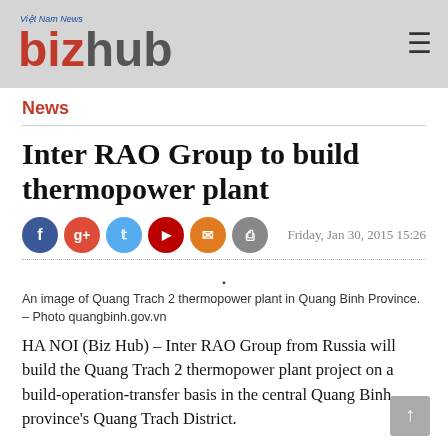Việt Nam News bizhub
News
Inter RAO Group to build thermopower plant
Friday, Jan 30, 2015 15:26
An image of Quang Trach 2 thermopower plant in Quang Binh Province. – Photo quangbinh.gov.vn
HA NOI (Biz Hub) – Inter RAO Group from Russia will build the Quang Trach 2 thermopower plant project on a build-operation-transfer basis in the central Quang Binh province's Quang Trach District.